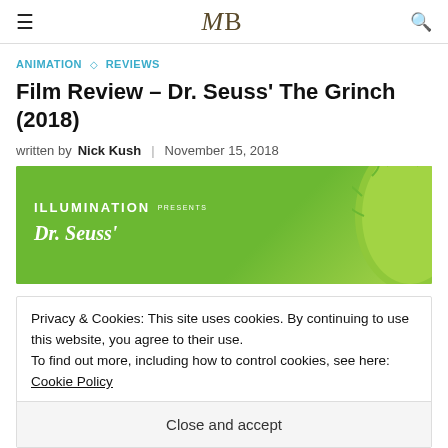MB — site header with hamburger menu, logo, and search icon
ANIMATION ◇ REVIEWS
Film Review – Dr. Seuss' The Grinch (2018)
written by Nick Kush | November 15, 2018
[Figure (photo): Movie promotional image — green background with ILLUMINATION PRESENTS and Dr. Seuss' text, with the back of the Grinch's green furry head on the right side]
Privacy & Cookies: This site uses cookies. By continuing to use this website, you agree to their use.
To find out more, including how to control cookies, see here: Cookie Policy
Close and accept